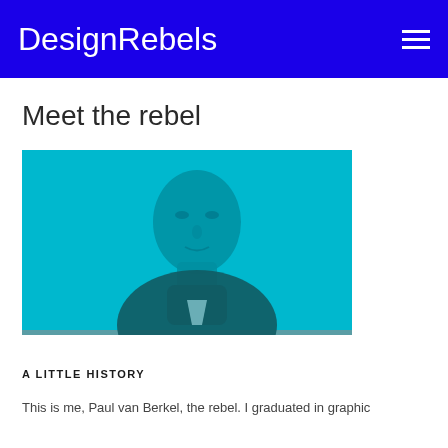DesignRebels
Meet the rebel
[Figure (photo): A man photographed against a cyan/teal colored background, shown from shoulders up, with a duotone cyan color treatment applied to the image.]
A LITTLE HISTORY
This is me, Paul van Berkel, the rebel. I graduated in graphic